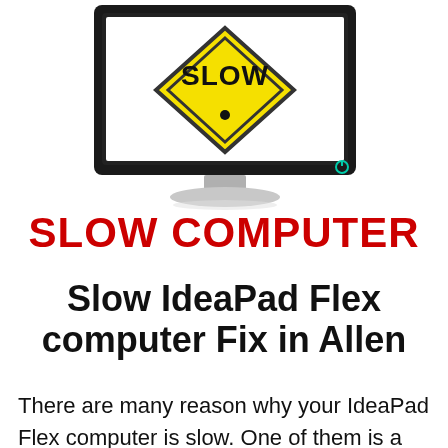[Figure (illustration): A black computer monitor displaying a yellow diamond-shaped 'SLOW' warning sign, with a silver stand and base. The monitor has a glowing teal power button on the lower right.]
SLOW COMPUTER
Slow IdeaPad Flex computer Fix in Allen
There are many reason why your IdeaPad Flex computer is slow. One of them is a hardware issue